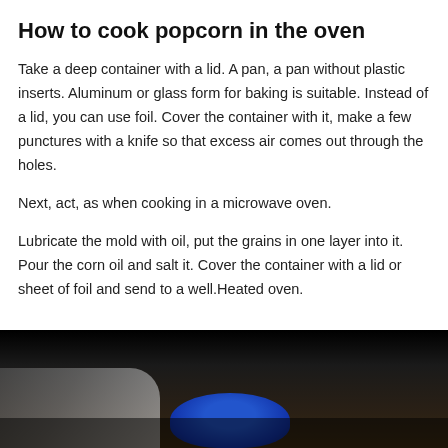How to cook popcorn in the oven
Take a deep container with a lid. A pan, a pan without plastic inserts. Aluminum or glass form for baking is suitable. Instead of a lid, you can use foil. Cover the container with it, make a few punctures with a knife so that excess air comes out through the holes.
Next, act, as when cooking in a microwave oven.
Lubricate the mold with oil, put the grains in one layer into it. Pour the corn oil and salt it. Cover the container with a lid or sheet of foil and send to a well.Heated oven.
[Figure (photo): A dark kitchen scene showing hands near a blue bowl on a surface, dimly lit with a black background at the top.]